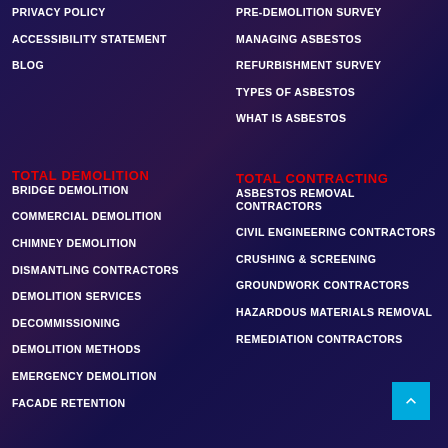PRIVACY POLICY
ACCESSIBILITY STATEMENT
BLOG
PRE-DEMOLITION SURVEY
MANAGING ASBESTOS
REFURBISHMENT SURVEY
TYPES OF ASBESTOS
WHAT IS ASBESTOS
TOTAL DEMOLITION
TOTAL CONTRACTING
BRIDGE DEMOLITION
COMMERCIAL DEMOLITION
CHIMNEY DEMOLITION
DISMANTLING CONTRACTORS
DEMOLITION SERVICES
DECOMMISSIONING
DEMOLITION METHODS
EMERGENCY DEMOLITION
FACADE RETENTION
ASBESTOS REMOVAL CONTRACTORS
CIVIL ENGINEERING CONTRACTORS
CRUSHING & SCREENING
GROUNDWORK CONTRACTORS
HAZARDOUS MATERIALS REMOVAL
REMEDIATION CONTRACTORS